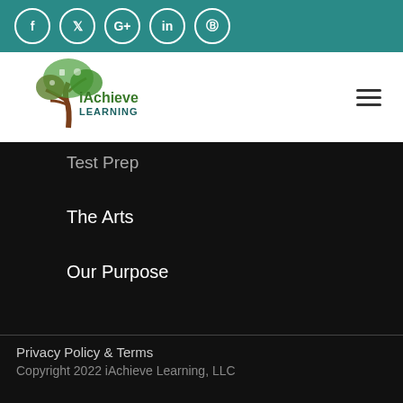Social media icons: Facebook, Twitter, Google+, LinkedIn, Pinterest
[Figure (logo): iAchieve Learning logo with illustrated tree and colorful educational icons]
Test Prep
The Arts
Our Purpose
Privacy Policy & Terms
Copyright 2022 iAchieve Learning, LLC